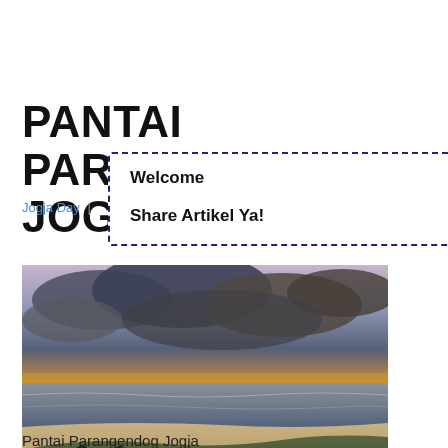PANTAI PARANGENDOG JOGJA
Jogja Day  |
Welcome
Share Artikel Ya!
[Figure (photo): Coastal beach scene at dusk/sunset with dramatic cloudy sky, ocean waves, sandy beach, and people sitting on a grassy hill in the foreground.]
Pantai Parangendog Jogja